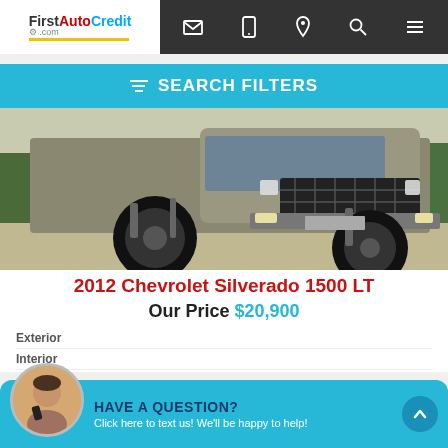[Figure (logo): FirstAutoCredit.com logo in navbar]
FirstAutoCredit.com navigation bar with email, phone, location, search, and menu icons
SEARCH FILTERS
[Figure (photo): 2012 Chevrolet Silverado 1500 LT lifted truck front view on concrete]
2012 Chevrolet Silverado 1500 LT
Our Price $20,900
Exterior
Interior
[Figure (photo): Chat widget with agent avatar. Text: HAVE A QUESTION? Click here to text us! We'll be happy to help!]